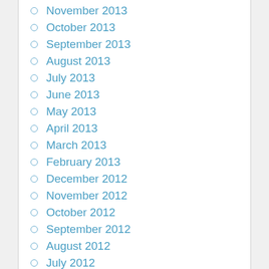November 2013
October 2013
September 2013
August 2013
July 2013
June 2013
May 2013
April 2013
March 2013
February 2013
December 2012
November 2012
October 2012
September 2012
August 2012
July 2012
June 2012
May 2012
April 2012
March 2012